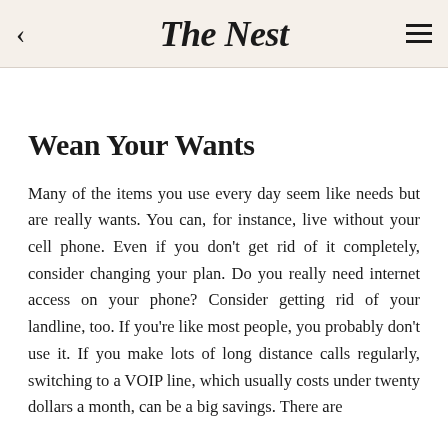The Nest
Wean Your Wants
Many of the items you use every day seem like needs but are really wants. You can, for instance, live without your cell phone. Even if you don't get rid of it completely, consider changing your plan. Do you really need internet access on your phone? Consider getting rid of your landline, too. If you're like most people, you probably don't use it. If you make lots of long distance calls regularly, switching to a VOIP line, which usually costs under twenty dollars a month, can be a big savings. There are